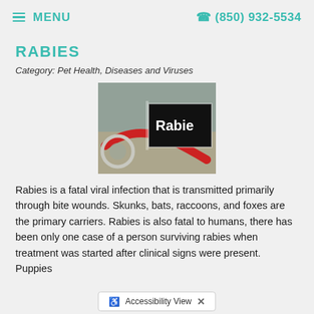MENU   (850) 932-5534
RABIES
Category: Pet Health, Diseases and Viruses
[Figure (photo): Photo of a stethoscope and a black sign with white text reading 'Rabies', with a red element visible]
Rabies is a fatal viral infection that is transmitted primarily through bite wounds. Skunks, bats, raccoons, and foxes are the primary carriers. Rabies is also fatal to humans, there has been only one case of a person surviving rabies when treatment was started after clinical signs were present. Puppies